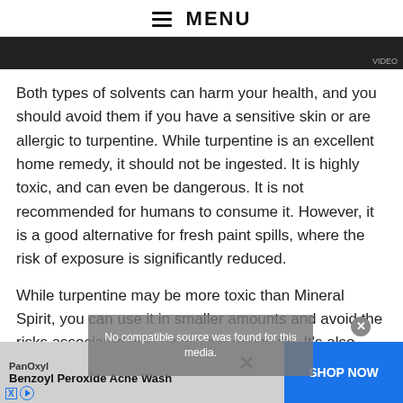≡ MENU
[Figure (photo): Dark image strip at top of article page]
Both types of solvents can harm your health, and you should avoid them if you have a sensitive skin or are allergic to turpentine. While turpentine is an excellent home remedy, it should not be ingested. It is highly toxic, and can even be dangerous. It is not recommended for humans to consume it. However, it is a good alternative for fresh paint spills, where the risk of exposure is significantly reduced.
While turpentine may be more toxic than Mineral Spirit, you can use it in smaller amounts and avoid the risks associated with excessive exposure. It's also
[Figure (screenshot): Video overlay with text: No compatible source was found for this media.]
[Figure (screenshot): Advertisement banner: PanOxyl Benzoyl Peroxide Acne Wash with SHOP NOW button]